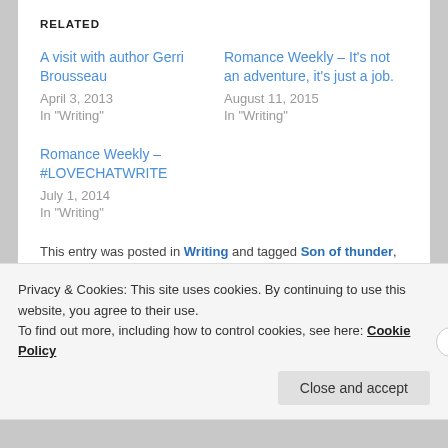RELATED
A visit with author Gerri Brousseau
April 3, 2013
In "Writing"
Romance Weekly – It's not an adventure, it's just a job.
August 11, 2015
In "Writing"
Romance Weekly – #LOVECHATWRITE
July 1, 2014
In "Writing"
This entry was posted in Writing and tagged Son of thunder, Steven C. Mitchell, WIP, Work In Progress, writing by
Privacy & Cookies: This site uses cookies. By continuing to use this website, you agree to their use.
To find out more, including how to control cookies, see here: Cookie Policy